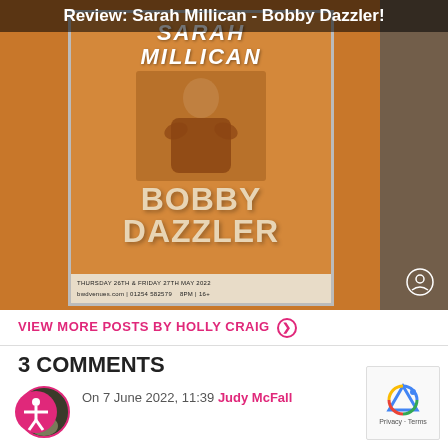Review: Sarah Millican - Bobby Dazzler!
[Figure (photo): Photo of a promotional poster for Sarah Millican's 'Bobby Dazzler' show, displayed outside a stone building. The poster shows Sarah Millican in a patterned dress on an orange background with text 'BOBBY DAZZLER'. Details read: THURSDAY 26TH & FRIDAY 27TH MAY 2022, 8PM | 16+, bwdvenues.com | 01254 582579]
VIEW MORE POSTS BY HOLLY CRAIG ❯
3 COMMENTS
On 7 June 2022, 11:39 Judy McFall